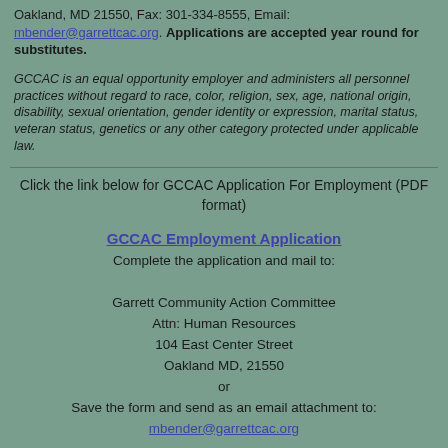Oakland, MD 21550, Fax: 301-334-8555, Email: mbender@garrettcac.org. Applications are accepted year round for substitutes.
GCCAC is an equal opportunity employer and administers all personnel practices without regard to race, color, religion, sex, age, national origin, disability, sexual orientation, gender identity or expression, marital status, veteran status, genetics or any other category protected under applicable law.
Click the link below for GCCAC Application For Employment (PDF format)
GCCAC Employment Application
Complete the application and mail to:

Garrett Community Action Committee
Attn: Human Resources
104 East Center Street
Oakland MD, 21550
or
Save the form and send as an email attachment to:
mbender@garrettcac.org

Fax: (301) 334-8555
GCCAC is an equal opportunity employer and administers all personnel practices without regard to race, color, religion, sex, age, national origin, disability, sexual orientation, gender identity or expression, marital status, veteran status, genetics or any other category protected under applicable